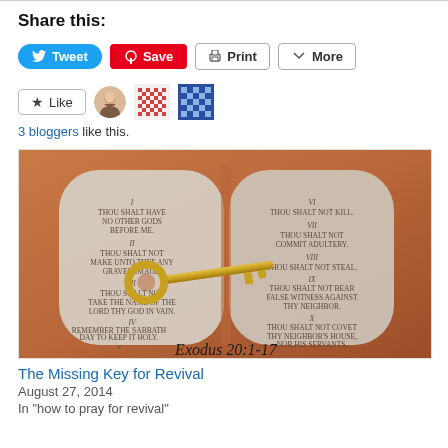Share this:
[Figure (screenshot): Social sharing buttons: Tweet (blue), Save (red Pinterest), Print (grey), More (grey)]
[Figure (screenshot): Like button with star, user avatar and two pixel pattern icons. Text: 3 bloggers like this.]
[Figure (photo): Photo of stone Ten Commandments tablets with a golden key overlaid, labeled Exodus 20:1-17]
The Missing Key for Revival
August 27, 2014
In "how to pray for revival"